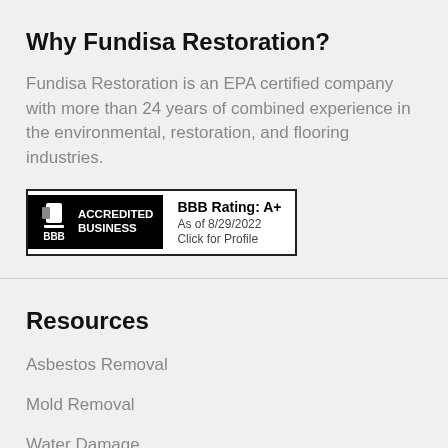Why Fundisa Restoration?
Fundisa Restoration is an EPA certified company with more than 24 years of combined experience in the environmental, restoration, and flooring industries.
[Figure (logo): BBB Accredited Business badge showing BBB Rating: A+ as of 8/29/2022 with Click for Profile text]
Resources
Asbestos Removal
Mold Removal
Water Damage
Certifications